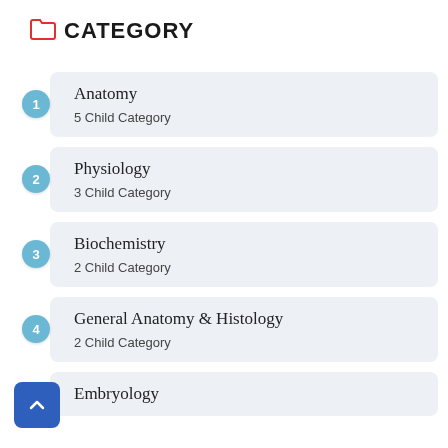CATEGORY
Anatomy
5 Child Category
Physiology
3 Child Category
Biochemistry
2 Child Category
General Anatomy & Histology
2 Child Category
Embryology